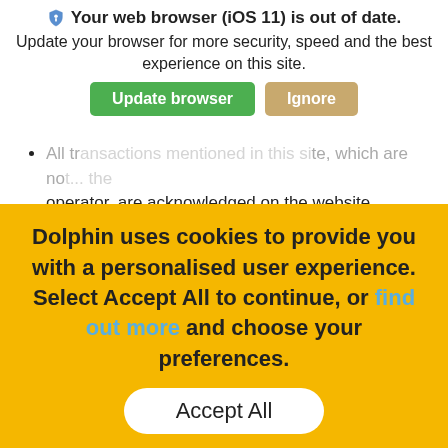[Figure (screenshot): Browser update notification banner with shield icon, bold title 'Your web browser (iOS 11) is out of date.', subtitle 'Update your browser for more security, speed and the best experience on this site.', with a green 'Update browser' button and a tan 'Ignore' button.]
All transactions mentioned in this site, which are not... operator, are acknowledged on the website.
Unauthorised use of this website may give to a claim for damages and/or be a criminal offence.
From time to time this website may also include links to other websites. These links are provided for your convenience to provide further...
Dolphin uses cookies to provide you with a personalised user experience. Select Accept All to continue, or find out more and choose your preferences.
Accept All